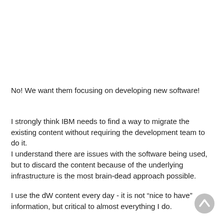No! We want them focusing on developing new software!
I strongly think IBM needs to find a way to migrate the existing content without requiring the development team to do it.
I understand there are issues with the software being used, but to discard the content because of the underlying infrastructure is the most brain-dead approach possible.
I use the dW content every day - it is not “nice to have” information, but critical to almost everything I do.
Dawn